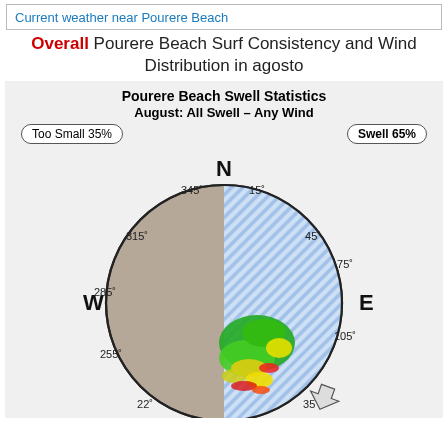Current weather near Pourere Beach
Overall Pourere Beach Surf Consistency and Wind Distribution in agosto
[Figure (other): Polar/compass wind-swell rose diagram for Pourere Beach. Title: Pourere Beach Swell Statistics. Subtitle: August: All Swell – Any Wind. Shows compass directions N, E, W with degree labels 15, 45, 75, 105, 135, 225, 255, 285, 315, 345. Left tan/brown sector (NW/W/SW) represents 'Too Small 35%'. Right blue-striped sector (NE/E/SE) represents 'Swell 65%'. Green, yellow and red color patches clustered near center-south indicate swell/wind frequency distribution. Arrow at bottom pointing outward near SE direction.]